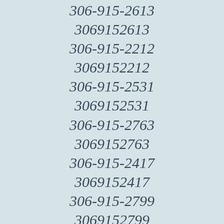306-915-2613
3069152613
306-915-2212
3069152212
306-915-2531
3069152531
306-915-2763
3069152763
306-915-2417
3069152417
306-915-2799
3069152799
306-915-2501
3069152501
306-915-2033
3069152033